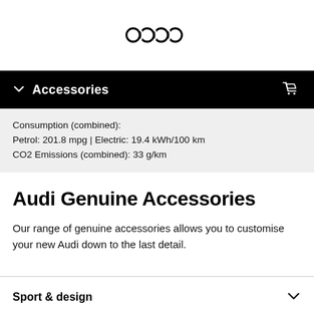Audi logo (four rings)
Accessories
Consumption (combined):
Petrol: 201.8 mpg | Electric: 19.4 kWh/100 km
CO2 Emissions (combined): 33 g/km
Audi Genuine Accessories
Our range of genuine accessories allows you to customise your new Audi down to the last detail.
Sport & design